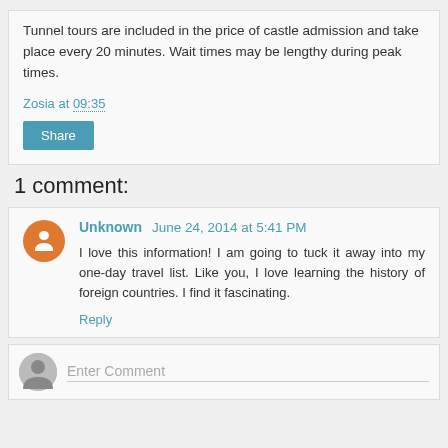Tunnel tours are included in the price of castle admission and take place every 20 minutes. Wait times may be lengthy during peak times.
Zosia at 09:35
Share
1 comment:
Unknown June 24, 2014 at 5:41 PM
I love this information! I am going to tuck it away into my one-day travel list. Like you, I love learning the history of foreign countries. I find it fascinating.
Reply
Enter Comment